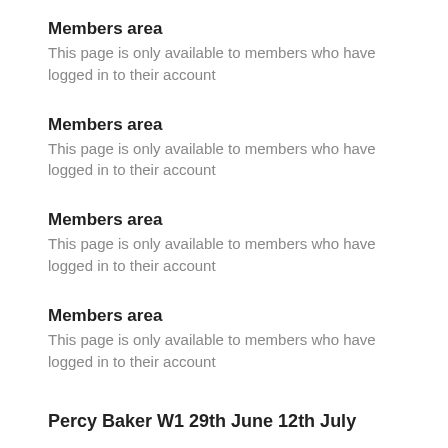Members area
This page is only available to members who have logged in to their account
Members area
This page is only available to members who have logged in to their account
Members area
This page is only available to members who have logged in to their account
Members area
This page is only available to members who have logged in to their account
Percy Baker W1 29th June 12th July